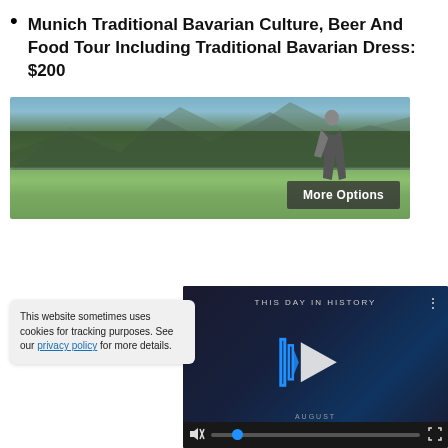Munich Traditional Bavarian Culture, Beer And Food Tour Including Traditional Bavarian Dress: $200
[Figure (photo): Landscape photo showing green fields, mountain backdrop, and a person standing wearing traditional Bavarian dress, with a 'More Options' button overlay in the bottom-right corner.]
[Figure (screenshot): Video player screenshot showing 'THIS DAY IN HISTORY' with a play button, 'AUGUST' text, video controls including mute icon, progress bar with blue dot, and fullscreen icon on a dark background.]
This website sometimes uses cookies for tracking purposes. See our privacy policy for more details.